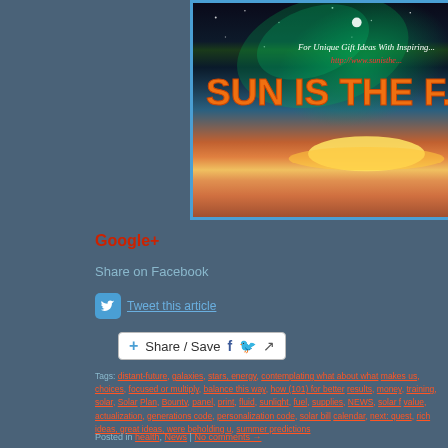[Figure (illustration): Website banner for 'Sun Is The Future' with space/sunset background, aurora borealis, moon, and orange text logo. Text reads 'For Unique Gift Ideas With Inspiring' and 'http://www.sunisthe...' and 'SUN IS THE F...']
Google+
Share on Facebook
Tweet this article
Share / Save
Tags: distant-future, galaxies, stars, energy, contemplating what about what makes us, choices, focused or multiply, balance this way, how (101) for better results, money, training, solar, Solar Plan, Bounty, panel, print, fluid, sunlight, fuel, supplies, NEWS, solar f value, actualization, generations code, personalization code, solar bill calendar, next: quest, rich ideas, great ideas, were beholding u, summer predictions
Posted in health, News | No comments →